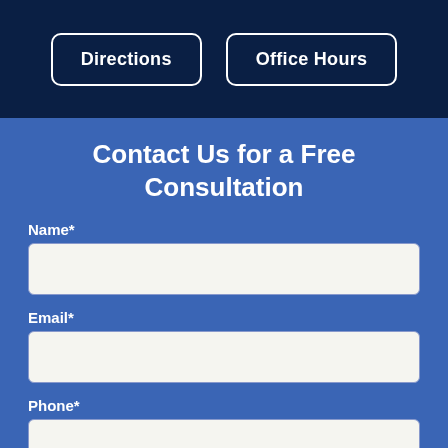Directions
Office Hours
Contact Us for a Free Consultation
Name*
Email*
Phone*